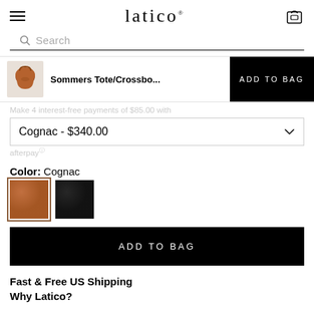latico
Search
Sommers Tote/Crossbo...  ADD TO BAG
Make 4 interest-free payments of $85.00 with afterpay
Cognac - $340.00
Color: Cognac
[Figure (other): Two color swatches: cognac/brown leather (selected, with border) and black leather]
ADD TO BAG
Fast & Free US Shipping
Why Latico?